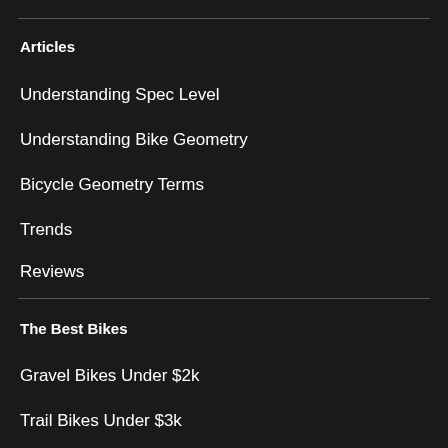Articles
Understanding Spec Level
Understanding Bike Geometry
Bicycle Geometry Terms
Trends
Reviews
The Best Bikes
Gravel Bikes Under $2k
Trail Bikes Under $3k